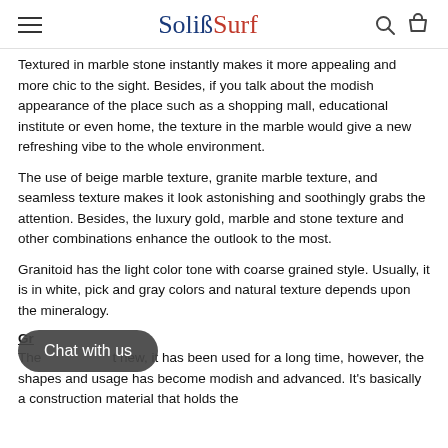SoliSSurf
Textured in marble stone instantly makes it more appealing and more chic to the sight. Besides, if you talk about the modish appearance of the place such as a shopping mall, educational institute or even home, the texture in the marble would give a new refreshing vibe to the whole environment.
The use of beige marble texture, granite marble texture, and seamless texture makes it look astonishing and soothingly grabs the attention. Besides, the luxury gold, marble and stone texture and other combinations enhance the outlook to the most.
Granitoid has the light color tone with coarse grained style. Usually, it is in white, pick and gray colors and natural texture depends upon the mineralogy.
Gr
The [Chat with us overlay] t new, it has been used for a long time, however, the shapes and usage has become modish and advanced. It's basically a construction material that holds the